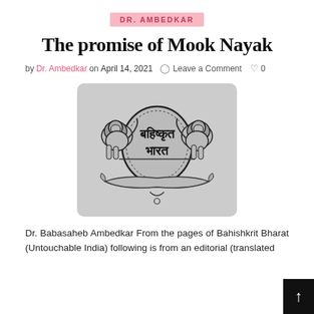DR. AMBEDKAR
The promise of Mook Nayak
by Dr. Ambedkar on April 14, 2021  Leave a Comment  0
[Figure (illustration): Bahishkrit Bharat (Untouchable India) emblem/logo showing two lions flanking a circular seal with Devanagari script reading 'Bahishkrit Bharat', with a decorative scroll banner below, rendered in black ink on gray background.]
Dr. Babasaheb Ambedkar From the pages of Bahishkrit Bharat (Untouchable India) following is from an editorial (translated